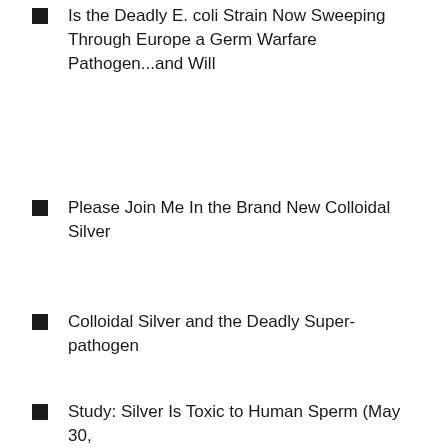Is the Deadly E. coli Strain Now Sweeping Through Europe a Germ Warfare Pathogen...and Will
Please Join Me In the Brand New Colloidal Silver
Colloidal Silver and the Deadly Super-pathogen
Study: Silver Is Toxic to Human Sperm (May 30,